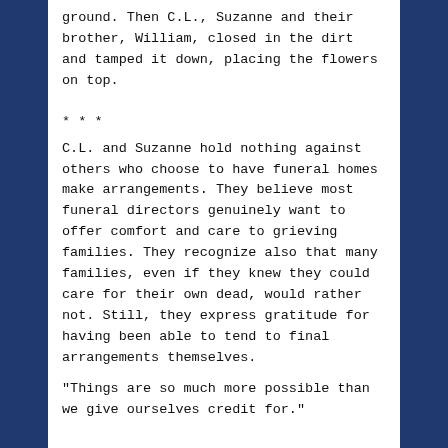ground. Then C.L., Suzanne and their brother, William, closed in the dirt and tamped it down, placing the flowers on top.
* * *
C.L. and Suzanne hold nothing against others who choose to have funeral homes make arrangements. They believe most funeral directors genuinely want to offer comfort and care to grieving families. They recognize also that many families, even if they knew they could care for their own dead, would rather not. Still, they express gratitude for having been able to tend to final arrangements themselves.
"Things are so much more possible than we give ourselves credit for."